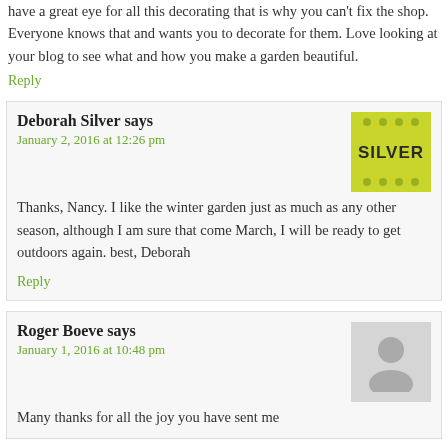have a great eye for all this decorating that is why you can't fix the shop. Everyone knows that and wants you to decorate for them. Love looking at your blog to see what and how you make a garden beautiful.
Reply
Deborah Silver says
January 2, 2016 at 12:26 pm
Thanks, Nancy. I like the winter garden just as much as any other season, although I am sure that come March, I will be ready to get outdoors again. best, Deborah
Reply
Roger Boeve says
January 1, 2016 at 10:48 pm
Many thanks for all the joy you have sent me